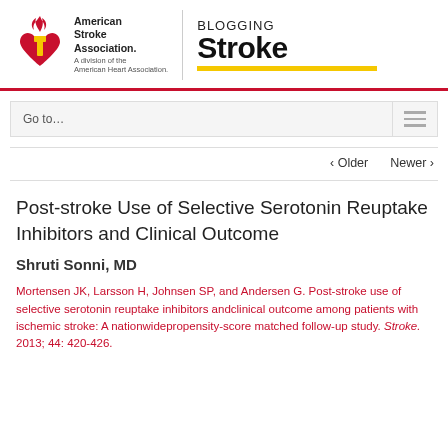[Figure (logo): American Stroke Association logo with heart and torch flame icon, and 'BLOGGING Stroke' masthead with yellow underline bar]
Go to…
‹ Older   Newer ›
Post-stroke Use of Selective Serotonin Reuptake Inhibitors and Clinical Outcome
Shruti Sonni, MD
Mortensen JK, Larsson H, Johnsen SP, and Andersen G. Post-stroke use of selective serotonin reuptake inhibitors andclinical outcome among patients with ischemic stroke: A nationwidepropensity-score matched follow-up study. Stroke. 2013; 44: 420-426.